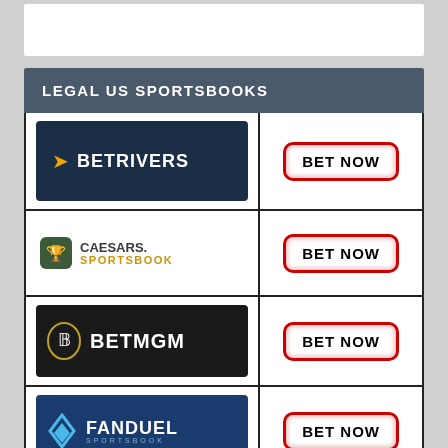LEGAL US SPORTSBOOKS
| Sportsbook | Action |
| --- | --- |
| BetRivers | BET NOW |
| Caesars Sportsbook | BET NOW |
| BetMGM | BET NOW |
| FanDuel Sportsbook | BET NOW |
| DraftKings Sportsbook | BET NOW |